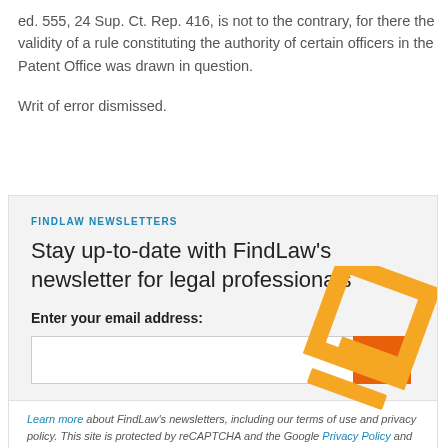ed. 555, 24 Sup. Ct. Rep. 416, is not to the contrary, for there the validity of a rule constituting the authority of certain officers in the Patent Office was drawn in question.
Writ of error dismissed.
FINDLAW NEWSLETTERS
Stay up-to-date with FindLaw's newsletter for legal professionals
Enter your email address:
[Figure (infographic): Email newsletter signup box with orange decorative geometric shapes, email input field, and orange submit button with right arrow]
Learn more about FindLaw's newsletters, including our terms of use and privacy policy. This site is protected by reCAPTCHA and the Google Privacy Policy and Terms of Service apply.